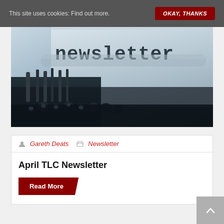This site uses cookies: Find out more.  OKAY, THANKS
[Figure (photo): Close-up photograph of a typewriter platen with the word 'newsletter' typed on paper, in blue-grey tones]
Gareth Deats   Newsletter
April TLC Newsletter
Read More